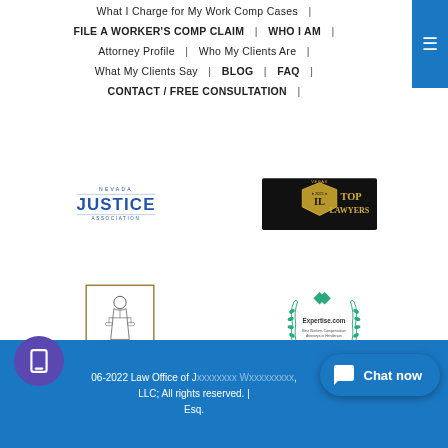What I Charge for My Work Comp Cases | FILE A WORKER'S COMP CLAIM | WHO I AM | Attorney Profile | Who My Clients Are | What My Clients Say | BLOG | FAQ | CONTACT / FREE CONSULTATION |
[Figure (logo): Nevada Justice Association logo]
[Figure (logo): Vegas Top Lawyers 2021 badge]
[Figure (logo): Citizens for Justice logo]
[Figure (logo): Expertise.com Best Workers Compensation Attorneys in Henderson 2021 badge]
06-2022 Law Office of J... LLC; All rights reserved. | Esq.